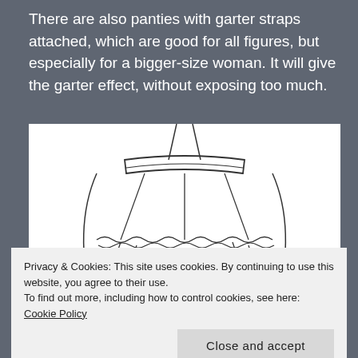There are also panties with garter straps attached, which are good for all figures, but especially for a bigger-size woman. It will give the garter effect, without exposing too much.
[Figure (illustration): Line drawing illustration of panties with garter straps attached, showing the garment from a front/rear angle with decorative lace trim and hanging garter clips.]
Privacy & Cookies: This site uses cookies. By continuing to use this website, you agree to their use.
To find out more, including how to control cookies, see here: Cookie Policy
Close and accept